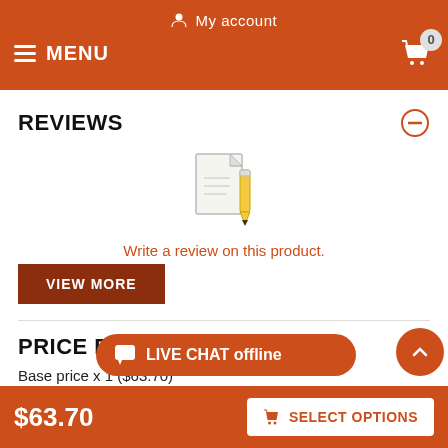My account  MENU  0
REVIEWS
[Figure (illustration): Document/notepad icon with pencil, suggesting a review writing prompt]
Write a review on this product.
VIEW MORE
PRICE BREAKDOWN
Base price x 1 ($63.70)
LIVE CHAT offline
$63.70  SELECT OPTIONS